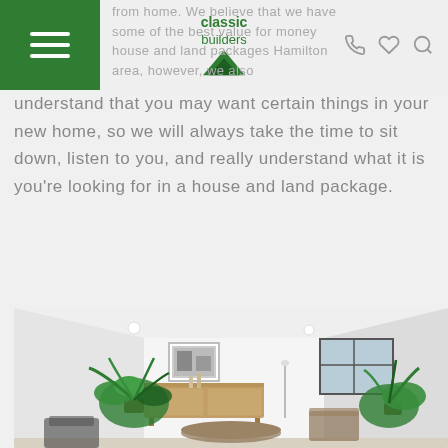Classic Builders — header navigation
from home. We believe that we have some of the best value for money house and land packages Hamilton area, however, we also understand that you may want certain things in your new home, so we will always take the time to sit down, listen to you, and really understand what it is you're looking for in a house and land package.
[Figure (photo): Interior photo of a modern living room with white walls, recessed lighting, large window, wooden sideboard, framed artwork, tropical plants, and modern furniture]